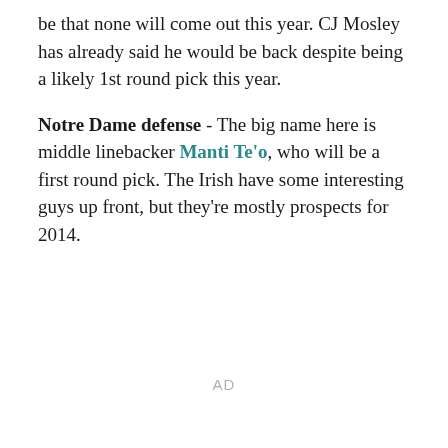be that none will come out this year. CJ Mosley has already said he would be back despite being a likely 1st round pick this year.
Notre Dame defense - The big name here is middle linebacker Manti Te'o, who will be a first round pick. The Irish have some interesting guys up front, but they're mostly prospects for 2014.
AD